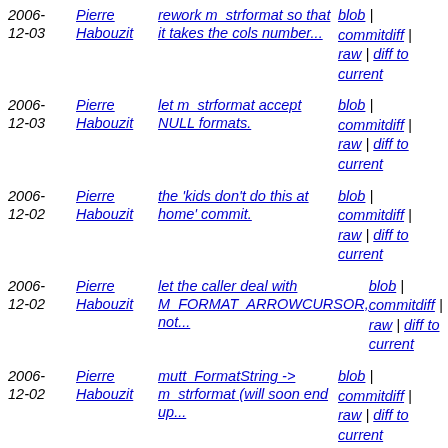2006-12-03 | Pierre Habouzit | rework m_strformat so that it takes the cols number... | blob | commitdiff | raw | diff to current
2006-12-03 | Pierre Habouzit | let m_strformat accept NULL formats. | blob | commitdiff | raw | diff to current
2006-12-02 | Pierre Habouzit | the 'kids don't do this at home' commit. | blob | commitdiff | raw | diff to current
2006-12-02 | Pierre Habouzit | let the caller deal with M_FORMAT_ARROWCURSOR, not... | blob | commitdiff | raw | diff to current
2006-12-02 | Pierre Habouzit | mutt_FormatString -> m_strformat (will soon end up... | blob | commitdiff | raw | diff to current
2006-12-01 | Pierre Habouzit | more documentation. | blob | commitdiff | raw | diff to current